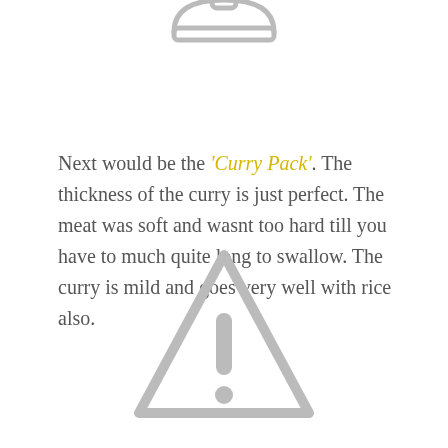[Figure (illustration): Gray icon of a serving dish/cloche lid, partially visible at top of page]
Next would be the 'Curry Pack'. The thickness of the curry is just perfect. The meat was soft and wasnt too hard till you have to much quite long to swallow. The curry is mild and goes very well with rice also.
[Figure (illustration): Gray warning/caution triangle icon with exclamation mark]